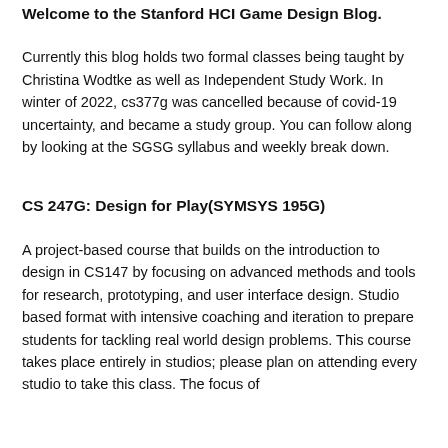Welcome to the Stanford HCI Game Design Blog.
Currently this blog holds two formal classes being taught by Christina Wodtke as well as Independent Study Work. In winter of 2022, cs377g was cancelled because of covid-19 uncertainty, and became a study group. You can follow along by looking at the SGSG syllabus and weekly break down.
CS 247G: Design for Play(SYMSYS 195G)
A project-based course that builds on the introduction to design in CS147 by focusing on advanced methods and tools for research, prototyping, and user interface design. Studio based format with intensive coaching and iteration to prepare students for tackling real world design problems. This course takes place entirely in studios; please plan on attending every studio to take this class. The focus of